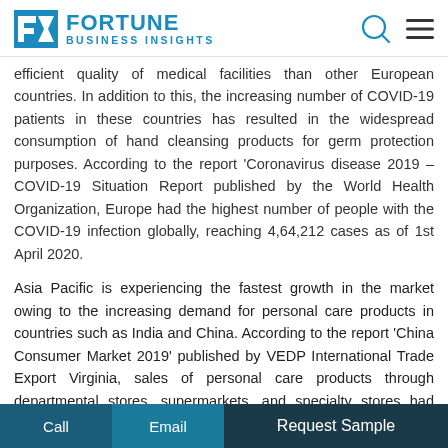[Figure (logo): Fortune Business Insights logo with teal/blue chevron icon and text]
efficient quality of medical facilities than other European countries. In addition to this, the increasing number of COVID-19 patients in these countries has resulted in the widespread consumption of hand cleansing products for germ protection purposes. According to the report 'Coronavirus disease 2019 – COVID-19 Situation Report published by the World Health Organization, Europe had the highest number of people with the COVID-19 infection globally, reaching 4,64,212 cases as of 1st April 2020.
Asia Pacific is experiencing the fastest growth in the market owing to the increasing demand for personal care products in countries such as India and China. According to the report 'China Consumer Market 2019' published by VEDP International Trade Export Virginia, sales of personal care products through departmental stores, supermarkets, and specialty stores had increased 8 times in 2019 over the
Call  Email  Request Sample